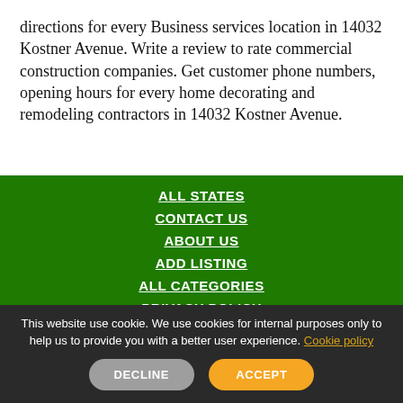directions for every Business services location in 14032 Kostner Avenue. Write a review to rate commercial construction companies. Get customer phone numbers, opening hours for every home decorating and remodeling contractors in 14032 Kostner Avenue.
ALL STATES
CONTACT US
ABOUT US
ADD LISTING
ALL CATEGORIES
PRIVACY POLICY
COOKIES PRIVACY POLICY
FAQ
This website use cookie. We use cookies for internal purposes only to help us to provide you with a better user experience. Cookie policy
DECLINE
ACCEPT